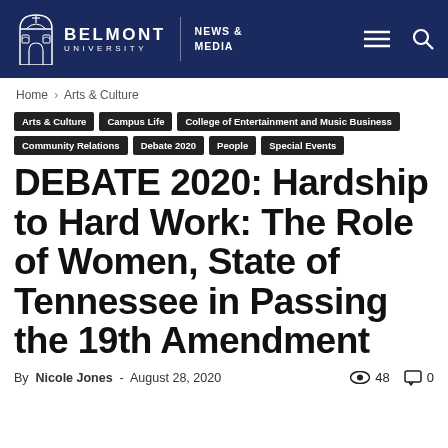BELMONT UNIVERSITY | NEWS & MEDIA
Home › Arts & Culture
Arts & Culture
Campus Life
College of Entertainment and Music Business
Community Relations
Debate 2020
People
Special Events
DEBATE 2020: Hardship to Hard Work: The Role of Women, State of Tennessee in Passing the 19th Amendment
By Nicole Jones - August 28, 2020  👁 48  💬 0